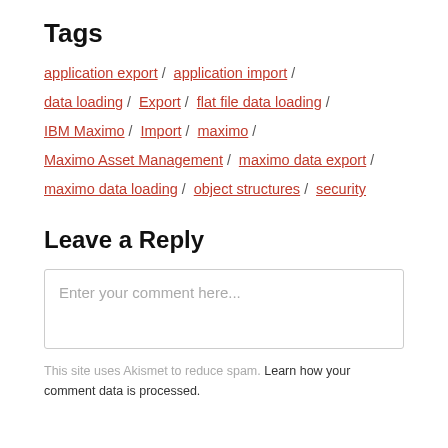Tags
application export / application import / data loading / Export / flat file data loading / IBM Maximo / Import / maximo / Maximo Asset Management / maximo data export / maximo data loading / object structures / security
Leave a Reply
Enter your comment here...
This site uses Akismet to reduce spam. Learn how your comment data is processed.